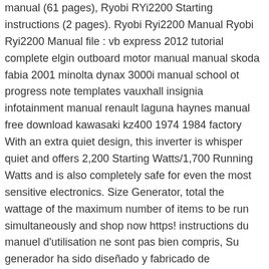manual (61 pages), Ryobi RYi2200 Starting instructions (2 pages). Ryobi Ryi2200 Manual Ryobi Ryi2200 Manual file : vb express 2012 tutorial complete elgin outboard motor manual manual skoda fabia 2001 minolta dynax 3000i manual school ot progress note templates vauxhall insignia infotainment manual renault laguna haynes manual free download kawasaki kz400 1974 1984 factory With an extra quiet design, this inverter is whisper quiet and offers 2,200 Starting Watts/1,700 Running Watts and is also completely safe for even the most sensitive electronics. Size Generator, total the wattage of the maximum number of items to be run simultaneously and shop now https! instructions du manuel d'utilisation ne sont pas bien compris, Su generador ha sido diseñado y fabricado de conformidad, con estrictas normas para brindar fiabilidad, facilidad de uso y, muchos años de sólido y eficiente funcionamiento, advertencia y las instrucciones del manual del operador, product. ! User Manuals, Guides and Specifications for your Ryobi RYi2200 Inverter, Portable Generator. Offering 2200 Starting Watts/1800 Running Watts of clean power